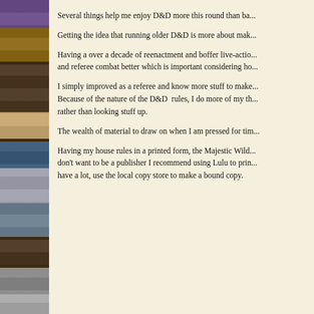Several things help me enjoy D&D more this round than ba...
Getting the idea that running older D&D is more about mak...
Having a over a decade of reenactment and boffer live-actio... and referee combat better which is important considering ho...
I simply improved as a referee and know more stuff to make... Because of the nature of the D&D rules, I do more of my th... rather than looking stuff up.
The wealth of material to draw on when I am pressed for tim...
Having my house rules in a printed form, the Majestic Wild... don't want to be a publisher I recommend using Lulu to prin... have a lot, use the local copy store to make a bound copy.
[Figure (photo): Photograph of bookshelves filled with books, games, and various items, visible on the left side of the page.]